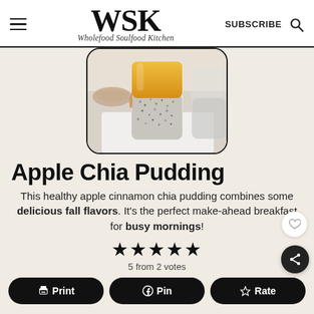WSK Wholefood Soulfood Kitchen — SUBSCRIBE
[Figure (photo): Chia pudding in a glass jar with golden apple layer on top, on a white napkin, with a bowl in background]
Apple Chia Pudding
This healthy apple cinnamon chia pudding combines some delicious fall flavors. It's the perfect make-ahead breakfast for busy mornings!
5 from 2 votes
Print   Pin   Rate